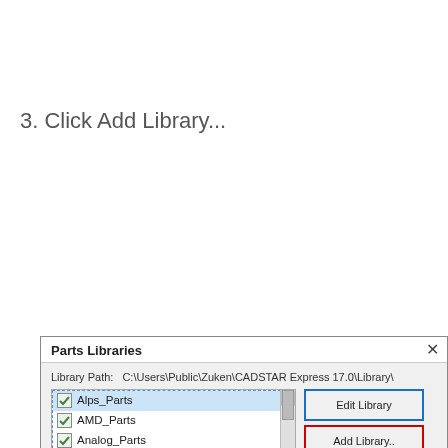3. Click Add Library...
[Figure (screenshot): Parts Libraries dialog box showing a list of library entries (Alps_Parts selected, AMD_Parts, Analog_Parts, Fairchild_Parts, Hitachi_Parts, Intel_Parts, IRF_Parts, Maxim_Parts, Microchip_Parts, Motorola_Parts, Natsemi_Parts, Onsemi_Parts, Parts) with buttons: Edit Library, Add Library.. (highlighted in red), Remove Library, Rename Library..., Enable Library, Disable Library, Edit Comment.... Library Path: C:\Users\Public\Zuken\CADSTAR Express 17.0\Library\]